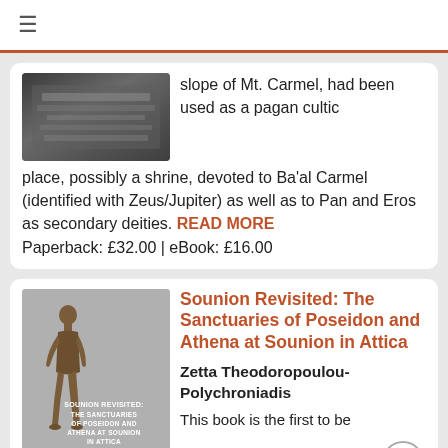≡
slope of Mt. Carmel, had been used as a pagan cultic place, possibly a shrine, devoted to Ba'al Carmel (identified with Zeus/Jupiter) as well as to Pan and Eros as secondary deities. READ MORE
Paperback: £32.00 | eBook: £16.00
Sounion Revisited: The Sanctuaries of Poseidon and Athena at Sounion in Attica
Zetta Theodoropoulou-Polychroniadis
This book is the first to be
[Figure (photo): Grayscale photo of an ancient stone relief or inscription]
[Figure (photo): Book cover for 'Sounion Revisited: The Sanctuaries of Poseidon and Athena at Sounion in Attica' by Zetta Theodoropoulou-Polychroniadis, gray cover with bronze figurine]